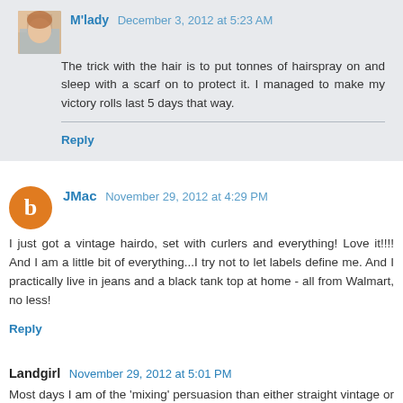[Figure (photo): Avatar image of M'lady commenter, small square photo of a person with vintage hair]
M'lady December 3, 2012 at 5:23 AM
The trick with the hair is to put tonnes of hairspray on and sleep with a scarf on to protect it. I managed to make my victory rolls last 5 days that way.
Reply
[Figure (illustration): Orange circle avatar with blogger B logo for JMac commenter]
JMac November 29, 2012 at 4:29 PM
I just got a vintage hairdo, set with curlers and everything! Love it!!!! And I am a little bit of everything...I try not to let labels define me. And I practically live in jeans and a black tank top at home - all from Walmart, no less!
Reply
Landgirl November 29, 2012 at 5:01 PM
Most days I am of the 'mixing' persuasion than either straight vintage or a modern look. Jeans and me fell out,